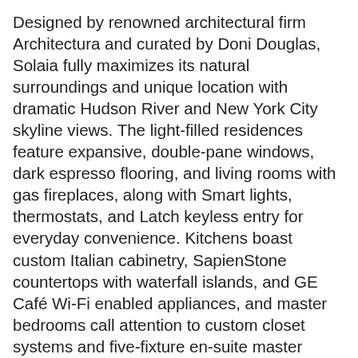Designed by renowned architectural firm Architectura and curated by Doni Douglas, Solaia fully maximizes its natural surroundings and unique location with dramatic Hudson River and New York City skyline views. The light-filled residences feature expansive, double-pane windows, dark espresso flooring, and living rooms with gas fireplaces, along with Smart lights, thermostats, and Latch keyless entry for everyday convenience. Kitchens boast custom Italian cabinetry, SapienStone countertops with waterfall islands, and GE Café Wi-Fi enabled appliances, and master bedrooms call attention to custom closet systems and five-fixture en-suite master baths with Seedwood tile feature walls and soaking tubs.
The world-class indoor and outdoor amenities at Solaia deliver a spa-inspired lifestyle that's unlike any other found in the region.  Designed to provide the perfect balance between health and wellness, the full suite of recreational and social amenities is highlighted by The Sanctuary, a